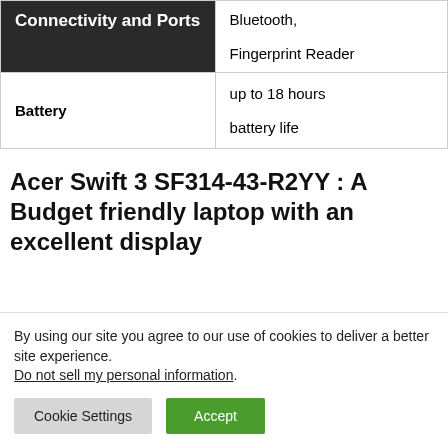|  |  |
| --- | --- |
| Connectivity and Ports | Bluetooth,
Fingerprint Reader |
| Battery | up to 18 hours battery life |
Acer Swift 3 SF314-43-R2YY : A Budget friendly laptop with an excellent display
By using our site you agree to our use of cookies to deliver a better site experience. Do not sell my personal information.